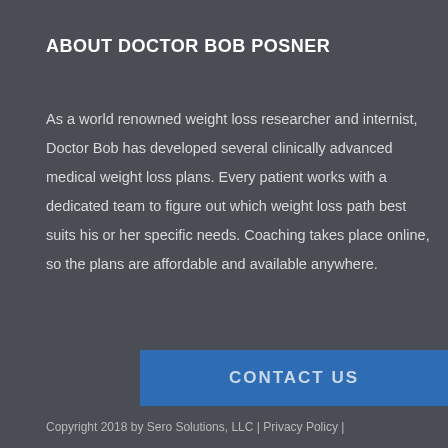ABOUT DOCTOR BOB POSNER
As a world renowned weight loss researcher and internist, Doctor Bob has developed several clinically advanced medical weight loss plans. Every patient works with a dedicated team to figure out which weight loss path best suits his or her specific needs. Coaching takes place online, so the plans are affordable and available anywhere.
CONTACT US
Copyright 2018 by Sero Solutions, LLC | Privacy Policy |